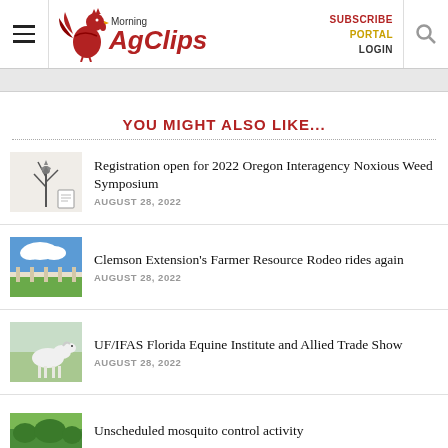Morning AgClips — SUBSCRIBE PORTAL LOGIN
YOU MIGHT ALSO LIKE...
Registration open for 2022 Oregon Interagency Noxious Weed Symposium — AUGUST 28, 2022
Clemson Extension's Farmer Resource Rodeo rides again — AUGUST 28, 2022
UF/IFAS Florida Equine Institute and Allied Trade Show — AUGUST 28, 2022
Unscheduled mosquito control activity